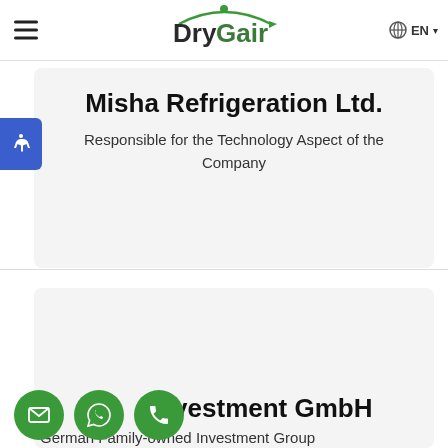DryGair — EN navigation header
Misha Refrigeration Ltd.
Responsible for the Technology Aspect of the Company
Investment GmbH
German Family-owned Investment Group